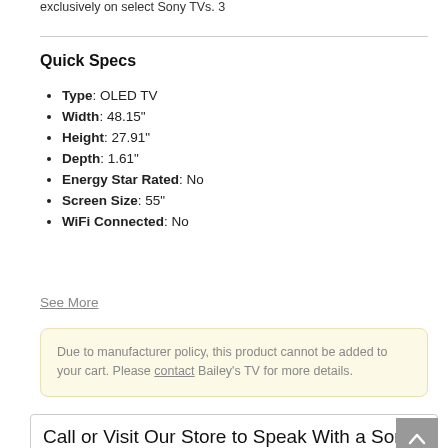exclusively on select Sony TVs. 3
Quick Specs
Type: OLED TV
Width: 48.15"
Height: 27.91"
Depth: 1.61"
Energy Star Rated: No
Screen Size: 55"
WiFi Connected: No
See More
Due to manufacturer policy, this product cannot be added to your cart. Please contact Bailey's TV for more details.
Call or Visit Our Store to Speak With a Sony Product Specialist